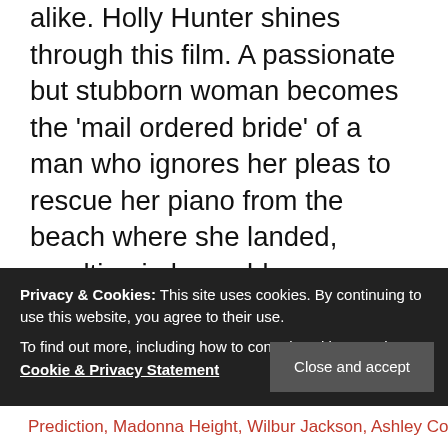alike. Holly Hunter shines through this film. A passionate but stubborn woman becomes the 'mail ordered bride' of a man who ignores her pleas to rescue her piano from the beach where she landed, resulting in her coldness towards him and his frustration with her. He senses her passion is linked to the piano and by connecting it to his step by step seduction tries to channel that passion to him. The Piano won the Palme d'Or at the Cannes Film Festival and Oscars for Hunt, Paquin, and Campion's screenplay. Our payment security system encrypts your information during transmission. I could … The score by Michael Nyman is one of those rare scores that become a very part of the film's fabric and the exquisite cinematography is courtesy of Stuart Dryburgh. For those not inclined toward the deep, the dark, the
Privacy & Cookies: This site uses cookies. By continuing to use this website, you agree to their use.
To find out more, including how to control cookies, see here: Cookie & Privacy Statement
Close and accept
Prediction, Madonna Height, Wilbur Jackson, Ashley Cole